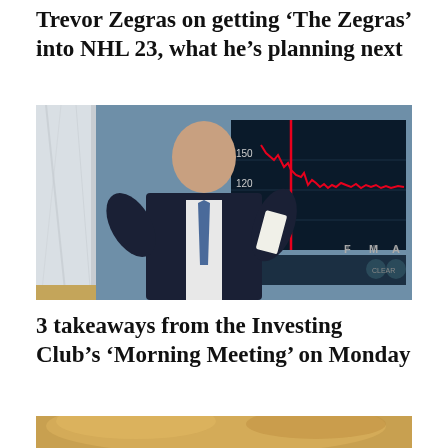Trevor Zegras on getting ‘The Zegras’ into NHL 23, what he’s planning next
[Figure (photo): A man in a dark suit and blue tie gesturing with his hands in front of a TV screen showing a red declining line chart with values 150, 120, 90 and axis labels F, M, A]
3 takeaways from the Investing Club’s ‘Morning Meeting’ on Monday
[Figure (photo): Partial bottom image of a person with blonde hair, cropped at the bottom of the page]